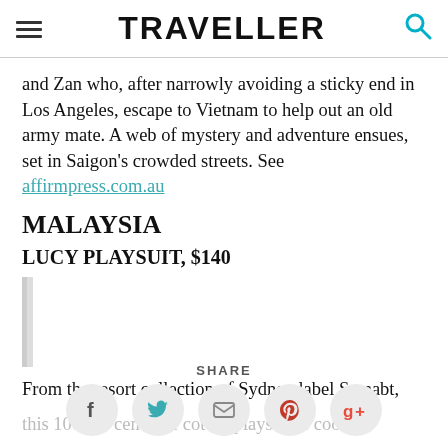TRAVELLER
and Zan who, after narrowly avoiding a sticky end in Los Angeles, escape to Vietnam to help out an old army mate. A web of mystery and adventure ensues, set in Saigon's crowded streets. See affirmpress.com.au
MALAYSIA
LUCY PLAYSUIT, $140
[Figure (other): Image placeholder area with left border]
From the resort collection of Sydney label Swnabt, this 100 per cent fine cotton playsuit is cool
SHARE — social icons: Facebook, Twitter, Email, Pinterest, Google+